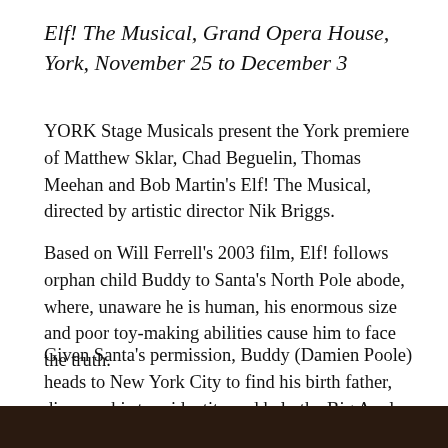Elf! The Musical, Grand Opera House, York, November 25 to December 3
YORK Stage Musicals present the York premiere of Matthew Sklar, Chad Beguelin, Thomas Meehan and Bob Martin's Elf! The Musical, directed by artistic director Nik Briggs.
Based on Will Ferrell's 2003 film, Elf! follows orphan child Buddy to Santa's North Pole abode, where, unaware he is human, his enormous size and poor toy-making abilities cause him to face the truth.
Given Santa's permission, Buddy (Damien Poole) heads to New York City to find his birth father, discover his true identity and help the Big Apple to remember the true meaning of Christmas. Box office: atgtickets.com/york.
[Figure (photo): Dark photo strip at the bottom of the page showing what appears to be a theatrical scene]